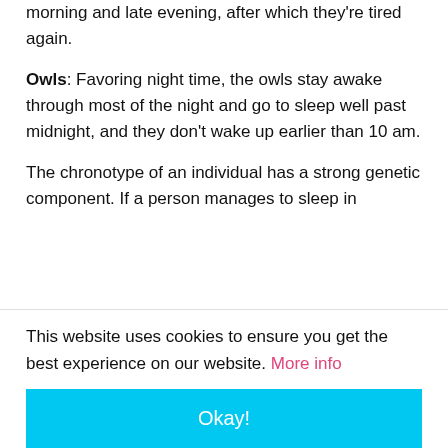morning and late evening, after which they're tired again.
Owls: Favoring night time, the owls stay awake through most of the night and go to sleep well past midnight, and they don't wake up earlier than 10 am.
The chronotype of an individual has a strong genetic component. If a person manages to sleep in
This website uses cookies to ensure you get the best experience on our website. More info
Okay!